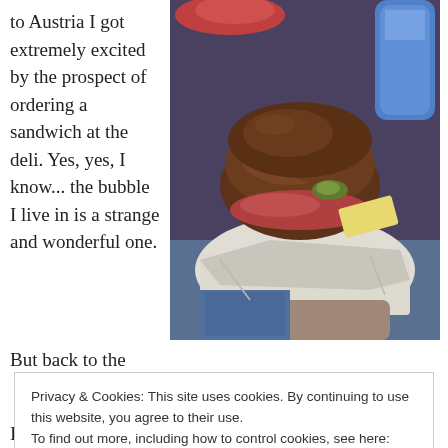to Austria I got extremely excited by the prospect of ordering a sandwich at the deli. Yes, yes, I know... the bubble I live in is a strange and wonderful one.
[Figure (photo): Close-up photo of a sandwich on white deli paper, with visible bread roll, fillings including vegetables and possibly meat, held in someone's hand. A water bottle is partially visible in the background.]
But back to the
Privacy & Cookies: This site uses cookies. By continuing to use this website, you agree to their use.
To find out more, including how to control cookies, see here: Cookie Policy
Close and accept
I love checking out the selection of rolls (even though I